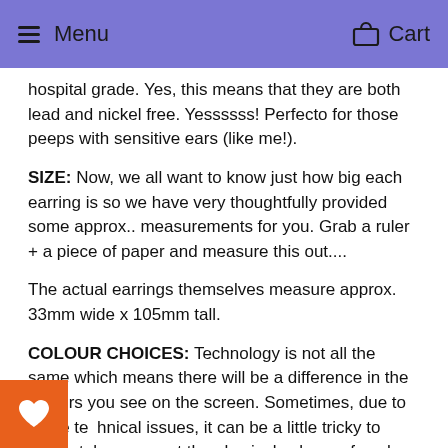Menu   Cart
hospital grade. Yes, this means that they are both lead and nickel free. Yessssss! Perfecto for those peeps with sensitive ears (like me!).
SIZE: Now, we all want to know just how big each earring is so we have very thoughtfully provided some approx.. measurements for you. Grab a ruler + a piece of paper and measure this out....
The actual earrings themselves measure approx. 33mm wide x 105mm tall.
COLOUR CHOICES: Technology is not all the same which means there will be a difference in the colours you see on the screen. Sometimes, due to these technical issues, it can be a little tricky to accurately represent the physical colours of each product. We